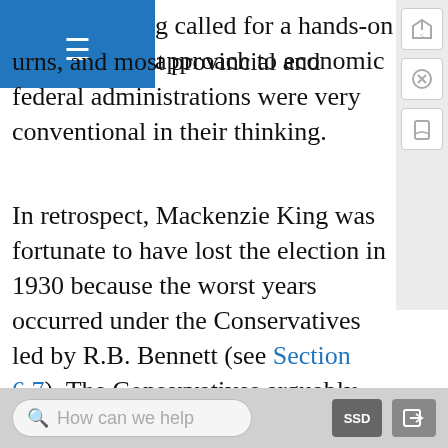≡ (navigation menu)
g called for a hands-on approach to economic urns, and most provincial and federal administrations were very conventional in their thinking.
In retrospect, Mackenzie King was fortunate to have lost the election in 1930 because the worst years occurred under the Conservatives led by R.B. Bennett (see Section 6.7). The Conservatives arguably were inclined even more than the Liberals to allow the Depression to run its course, but they had no way of knowing how deep the troughs could get. Although by 1931 things were very bad, a slight hint of recovery arose in 1932 or, at least, things weren't worsening as badly as in 1929-31. When 1933 came along, the Canadian economy plunged headlong into the deepest
How can we help  SSD